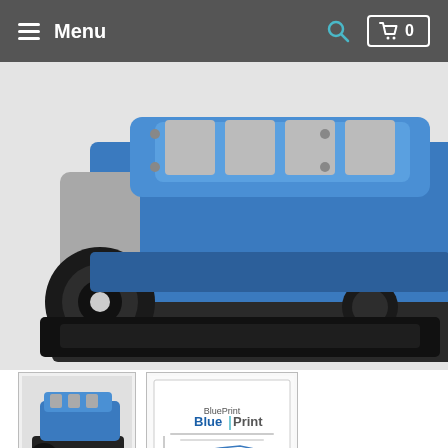Menu  🔍  🛒 0
[Figure (photo): Large photo of a 306CI Bronco Edition crate engine, blue and silver, small block Ford style, viewed from the front-left angle, on a dark base stand.]
[Figure (photo): Thumbnail image of the same 306CI Bronco Edition crate engine, blue and silver, front view.]
[Figure (other): Thumbnail image of a Blueprint Engines dyno sheet/spec sheet with 'BluePrint' logo in blue.]
306CI BRONCO EDITION CRATE ENGINE | SMALL BLOCK FORD STYLE | BASE DRESSED LONGBLOCK WITH FUEL INJECTION